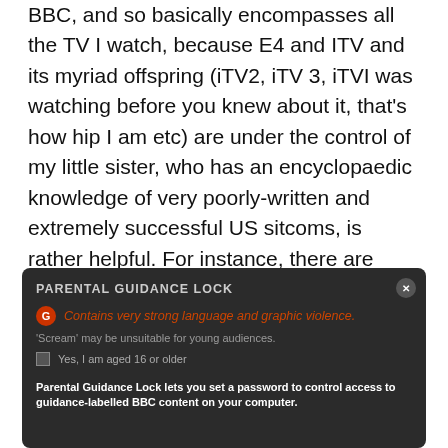BBC, and so basically encompasses all the TV I watch, because E4 and ITV and its myriad offspring (iTV2, iTV 3, iTVI was watching before you knew about it, that's how hip I am etc) are under the control of my little sister, who has an encyclopaedic knowledge of very poorly-written and extremely successful US sitcoms, is rather helpful. For instance, there are some days when I'd really rather not have to deal with 'scenes of violence or bad language', and others when, arguably, that's all I really want.
[Figure (screenshot): Screenshot of a BBC iPlayer Parental Guidance Lock dialog box on a dark background. It shows a red G badge with text 'Contains very strong language and graphic violence.' in orange/red. Below is grey text saying 'Scream' may be unsuitable for young audiences. A checkbox option reads 'Yes, I am aged 16 or older'. At the bottom is bold white text: 'Parental Guidance Lock lets you set a password to control access to guidance-labelled BBC content on your computer.']